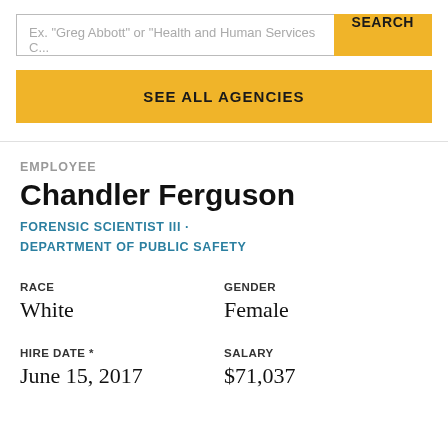Ex. "Greg Abbott" or "Health and Human Services C...
SEARCH
SEE ALL AGENCIES
EMPLOYEE
Chandler Ferguson
FORENSIC SCIENTIST III · DEPARTMENT OF PUBLIC SAFETY
RACE
White
GENDER
Female
HIRE DATE *
June 15, 2017
SALARY
$71,037